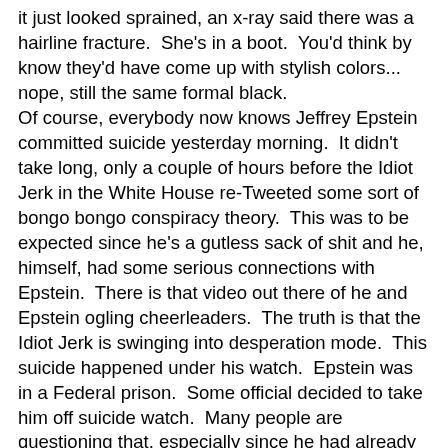it just looked sprained, an x-ray said there was a hairline fracture.  She's in a boot.  You'd think by know they'd have come up with stylish colors... nope, still the same formal black.
Of course, everybody now knows Jeffrey Epstein committed suicide yesterday morning.  It didn't take long, only a couple of hours before the Idiot Jerk in the White House re-Tweeted some sort of bongo bongo conspiracy theory.  This was to be expected since he's a gutless sack of shit and he, himself, had some serious connections with Epstein.  There is that video out there of he and Epstein ogling cheerleaders.  The truth is that the Idiot Jerk is swinging into desperation mode.  This suicide happened under his watch.  Epstein was in a Federal prison.  Some official decided to take him off suicide watch.  Many people are questioning that, especially since he had already made one attempt and failed.  Billy Barr is throwing a suicide investigation party because this makes him look bad.  And the two-bit president who wants to be a dictator?  He's starting to throw shit against the wall hoping something will stick, no matter how unrealistic  As I said before, he's growing desperate.
Yesterday was my Hump Day.  That means my next two